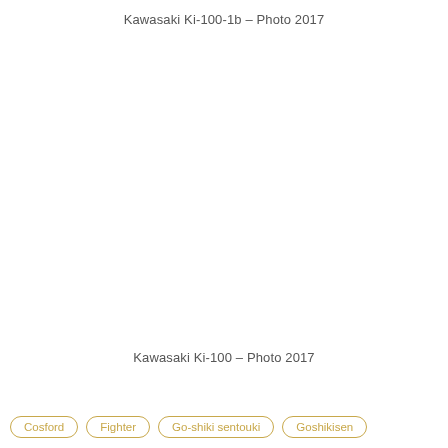Kawasaki Ki-100-1b – Photo 2017
[Figure (photo): Blank/white photo area representing a photograph of Kawasaki Ki-100-1b (photo missing or not rendered)]
Kawasaki Ki-100 – Photo 2017
Cosford
Fighter
Go-shiki sentouki
Goshikisen